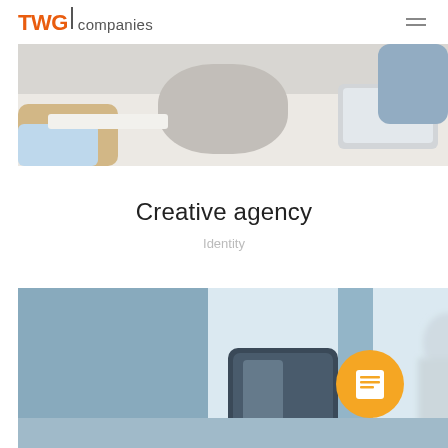TWG companies
[Figure (photo): Blurred office scene showing people working at desks with laptops, close-up view from low angle]
Creative agency
Identity
[Figure (photo): Blurred office interior with a person standing in background, and a dark tablet device in foreground, with an orange circular icon bearing a list/document symbol overlay]